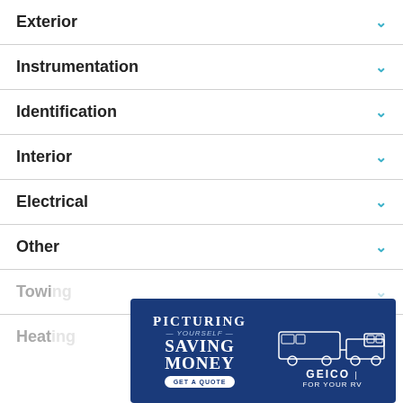Exterior
Instrumentation
Identification
Interior
Electrical
Other
Towing
Heating
[Figure (illustration): GEICO insurance advertisement: dark blue background with text 'PICTURING YOURSELF SAVING MONEY - GET A QUOTE' and illustration of a truck towing an RV, with GEICO logo and 'FOR YOUR RV' tagline]